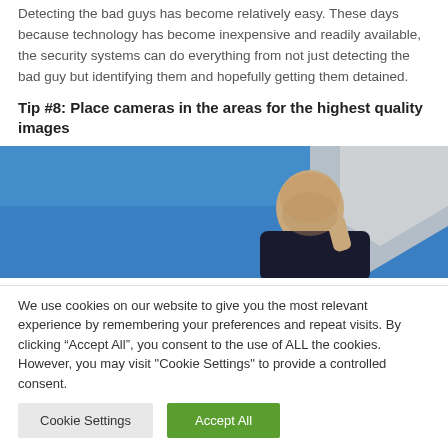Detecting the bad guys has become relatively easy. These days because technology has become inexpensive and readily available, the security systems can do everything from not just detecting the bad guy but identifying them and hopefully getting them detained.
Tip #8: Place cameras in the areas for the highest quality images
[Figure (photo): A bald man looking over a rooftop edge against a blue sky, viewed from below.]
We use cookies on our website to give you the most relevant experience by remembering your preferences and repeat visits. By clicking “Accept All”, you consent to the use of ALL the cookies. However, you may visit "Cookie Settings" to provide a controlled consent.